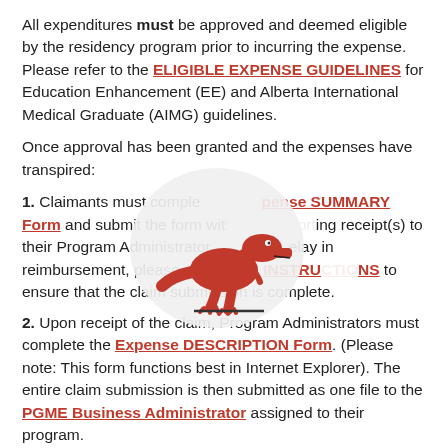All expenditures must be approved and deemed eligible by the residency program prior to incurring the expense. Please refer to the ELIGIBLE EXPENSE GUIDELINES for Education Enhancement (EE) and Alberta International Medical Graduate (AIMG) guidelines.
Once approval has been granted and the expenses have transpired:
1. Claimants must complete the Expense SUMMARY Form and submit the form with the supporting receipt(s) to their Program Administrator. To avoid delay in reimbursement, please refer to the INSTRUCTIONS to ensure that the claim submission is complete.
2. Upon receipt of the claim, Program Administrators must complete the Expense DESCRIPTION Form. (Please note: This form functions best in Internet Explorer). The entire claim submission is then submitted as one file to the PGME Business Administrator assigned to their program.
3. The above process applies to all PGME program claims...